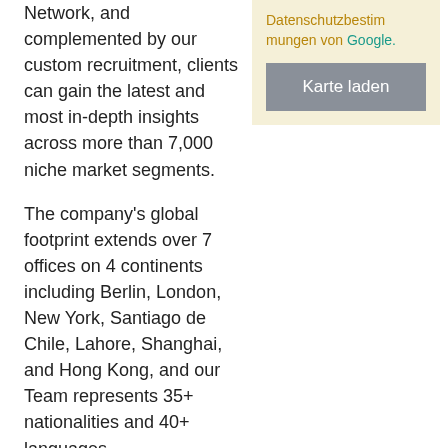Network, and complemented by our custom recruitment, clients can gain the latest and most in-depth insights across more than 7,000 niche market segments.
[Figure (other): Yellow notice box with German text about Datenschutzbestimmungen von Google and a grey 'Karte laden' button]
The company's global footprint extends over 7 offices on 4 continents including Berlin, London, New York, Santiago de Chile, Lahore, Shanghai, and Hong Kong, and our Team represents 35+ nationalities and 40+ languages.
Joining Atheneum is a